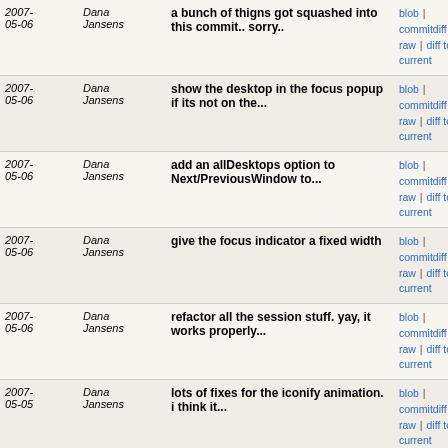| Date | Author | Message | Links |
| --- | --- | --- | --- |
| 2007-05-06 | Dana Jansens | a bunch of thigns got squashed into this commit.. sorry.. | blob | commitdiff | raw | diff to current |
| 2007-05-06 | Dana Jansens | show the desktop in the focus popup if its not on the... | blob | commitdiff | raw | diff to current |
| 2007-05-06 | Dana Jansens | add an allDesktops option to Next/PreviousWindow to... | blob | commitdiff | raw | diff to current |
| 2007-05-06 | Dana Jansens | give the focus indicator a fixed width | blob | commitdiff | raw | diff to current |
| 2007-05-06 | Dana Jansens | refactor all the session stuff. yay, it works properly... | blob | commitdiff | raw | diff to current |
| 2007-05-05 | Dana Jansens | lots of fixes for the iconify animation. i think it... | blob | commitdiff | raw | diff to current |
| 2007-05-05 | Dana Jansens | missing parentheses | blob | commitdiff | raw | diff to current |
| 2007-05-05 | Dana Jansens | let you alt-tab to utility windows when focus is alread... | blob | commitdiff | raw | diff to current |
| 2007-05-03 | Dana Jansens | add the notion of "application windows" meaning normal... | blob | commitdiff | raw | diff to current |
| 2007-05-02 | Dana Jansens | remove delay for focus/desktop popups. its fast anyway... | blob | commitdiff | raw | diff to current |